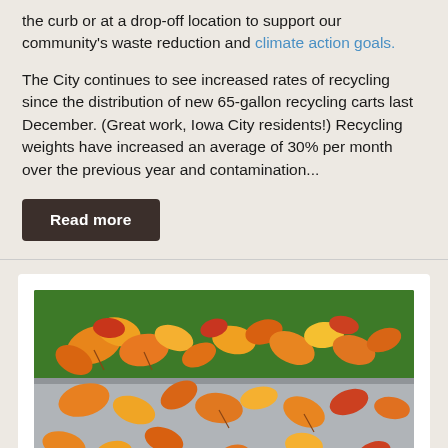the curb or at a drop-off location to support our community's waste reduction and climate action goals.
The City continues to see increased rates of recycling since the distribution of new 65-gallon recycling carts last December. (Great work, Iowa City residents!) Recycling weights have increased an average of 30% per month over the previous year and contamination...
Read more
[Figure (photo): Autumn leaves (orange, yellow, red) scattered on a concrete sidewalk curb with green grass visible in the background.]